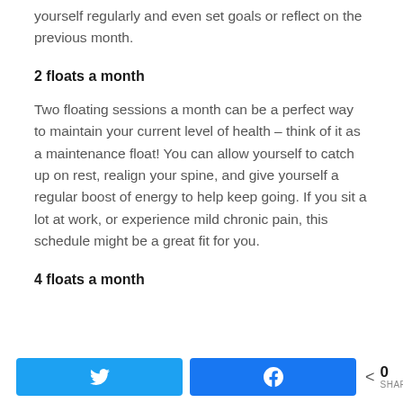yourself regularly and even set goals or reflect on the previous month.
2 floats a month
Two floating sessions a month can be a perfect way to maintain your current level of health – think of it as a maintenance float! You can allow yourself to catch up on rest, realign your spine, and give yourself a regular boost of energy to help keep going. If you sit a lot at work, or experience mild chronic pain, this schedule might be a great fit for you.
4 floats a month
[Figure (infographic): Social sharing bar with Twitter button, Facebook button, and share count showing 0 SHARES]